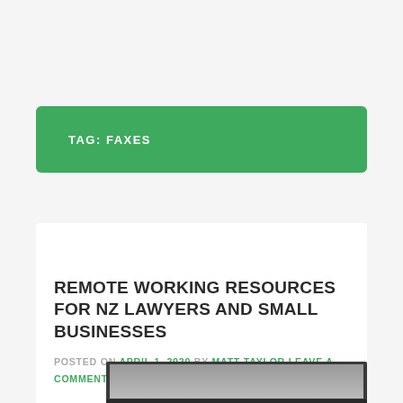TAG: FAXES
REMOTE WORKING RESOURCES FOR NZ LAWYERS AND SMALL BUSINESSES
POSTED ON APRIL 1, 2020 BY MATT TAYLOR LEAVE A COMMENT
[Figure (photo): Partial view of a laptop computer, showing the top of the screen and keyboard from above, in black and white tones.]